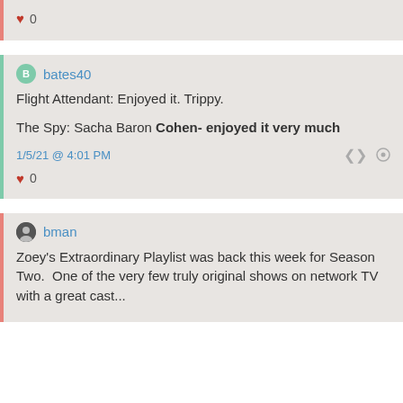♥ 0
bates40
Flight Attendant: Enjoyed it. Trippy.

The Spy: Sacha Baron Cohen- enjoyed it very much
1/5/21 @ 4:01 PM
♥ 0
bman
Zoey's Extraordinary Playlist was back this week for Season Two. One of the very few truly original shows on network TV with a great cast...